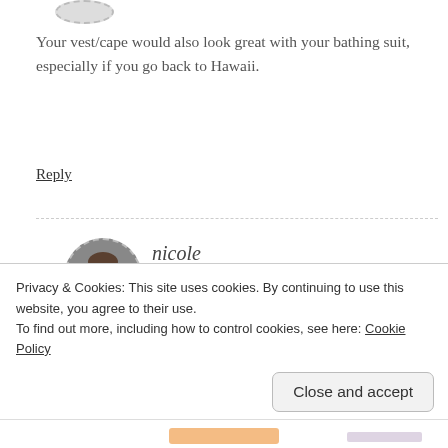[Figure (photo): Partial circular avatar image cropped at the top of the page with dashed border]
Your vest/cape would also look great with your bathing suit, especially if you go back to Hawaii.
Reply
[Figure (photo): Circular profile photo of Nicole with dashed border, showing a young woman]
nicole
OCTOBER 30, 2013 AT 11:39 AM
Ooh, swimsuit cover, good idea.
Privacy & Cookies: This site uses cookies. By continuing to use this website, you agree to their use.
To find out more, including how to control cookies, see here: Cookie Policy
Close and accept